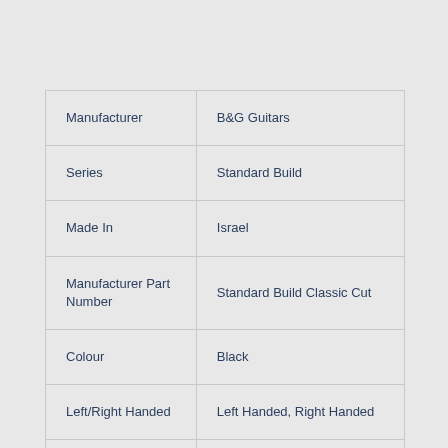|  |  |
| --- | --- |
| Manufacturer | B&G Guitars |
| Series | Standard Build |
| Made In | Israel |
| Manufacturer Part Number | Standard Build Classic Cut |
| Colour | Black |
| Left/Right Handed | Left Handed, Right Handed |
| Body Type | Chambered |